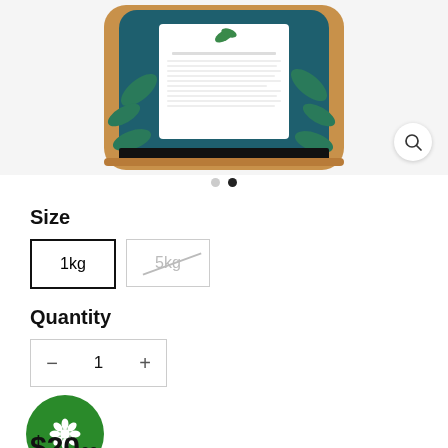[Figure (photo): Product image of a kraft paper bag with teal botanical leaf design and white label, shown on light gray background with zoom/search icon button in bottom right]
● ●
Size
1kg  5kg (unavailable)
Quantity
− 1 +
$20.00